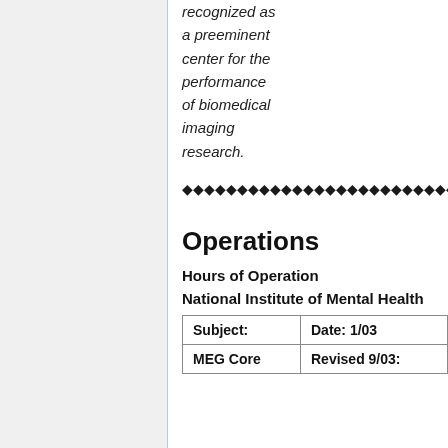recognized as a preeminent center for the performance of biomedical imaging research.
♦♦♦♦♦♦♦♦♦♦♦♦♦♦♦♦♦♦♦♦♦♦♦♦♦♦♦♦♦♦♦♦♦♦♦♦♦♦♦♦♦♦♦♦♦♦♦♦♦♦
Operations
Hours of Operation
National Institute of Mental Health
| Subject: | Date: 1/03 |
| --- | --- |
| MEG Core | Revised 9/03: |